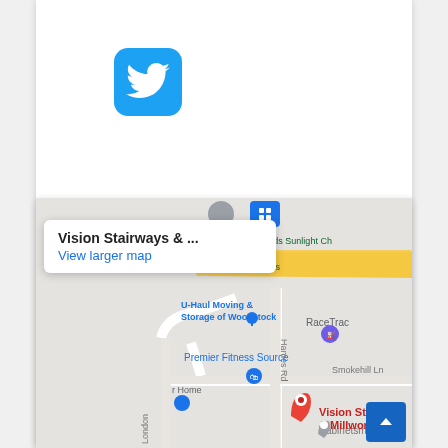[Figure (logo): Twitter bird logo icon — white bird on blue rounded square background]
[Figure (map): Google Maps embedded map showing Vision Stairways & Millwork location in Woodstock area, with popup showing 'Vision Stairways & ...' and 'View larger map' link. Map shows U-Haul Moving & Storage of Woodstock, RaceTrac, Premier Fitness Source, Smokehill Ln, Hames Rd, London (road), cabinetsmart, and a red pin for Vision Stairways & Millwork.]